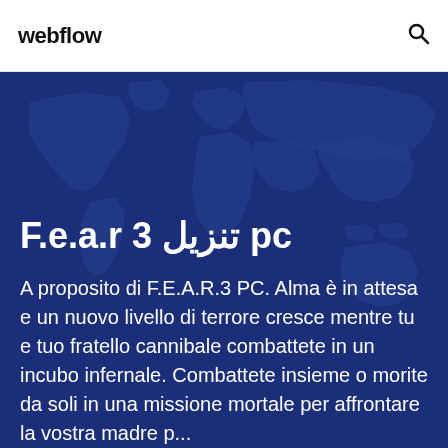webflow
[Figure (illustration): Dark blue world map silhouette background for the hero section]
F.e.a.r 3 تنزيل pc
A proposito di F.E.A.R.3 PC. Alma è in attesa e un nuovo livello di terrore cresce mentre tu e tuo fratello cannibale combattete in un incubo infernale. Combattete insieme o morite da soli in una missione mortale per affrontare la vostra madre prossima...